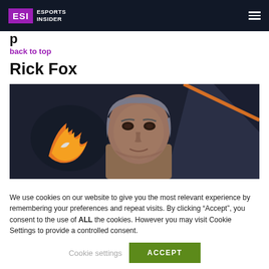ESI Esports Insider
p
back to top
Rick Fox
[Figure (photo): Photo of Rick Fox at an esports event, with an orange phoenix logo visible in the background on the left side, dark studio setting with orange accent lighting]
We use cookies on our website to give you the most relevant experience by remembering your preferences and repeat visits. By clicking “Accept”, you consent to the use of ALL the cookies. However you may visit Cookie Settings to provide a controlled consent.